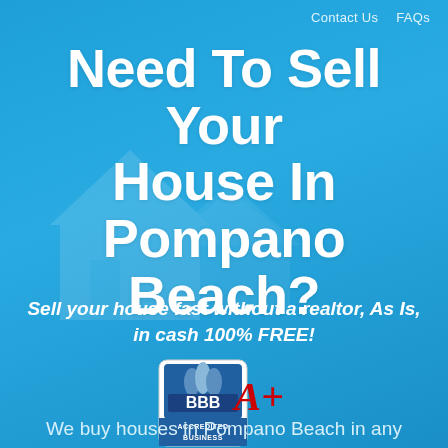Contact Us   FAQs
Need To Sell Your House In Pompano Beach?
Sell your house fast without a realtor, As Is, in cash 100% FREE!
[Figure (logo): BBB Accredited Business logo with A+ rating in red script]
We buy houses in Pompano Beach in any